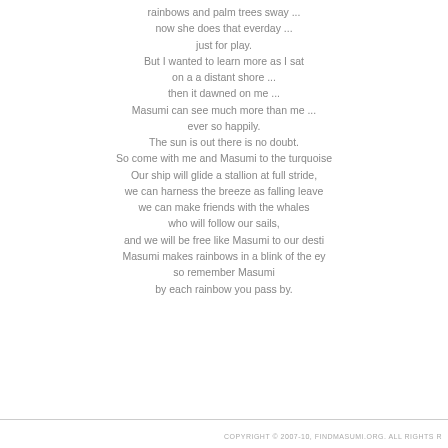rainbows and palm trees sway ...
now she does that everday ...
just for play.
But I wanted to learn more as I sat
on a a distant shore ...
then it dawned on me ...
Masumi can see much more than me ...
ever so happily.
The sun is out there is no doubt.
So come with me and Masumi to the turquoise
Our ship will glide a stallion at full stride,
we can harness the breeze as falling leave
we can make friends with the whales
who will follow our sails,
and we will be free like Masumi to our desti
Masumi makes rainbows in a blink of the ey
so remember Masumi
by each rainbow you pass by.
COPYRIGHT © 2007-10, FINDMASUMI.ORG. ALL RIGHTS R